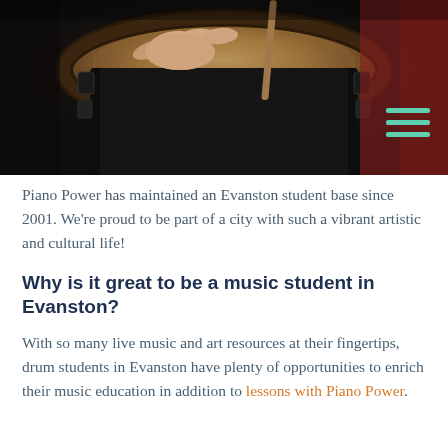[Figure (photo): Close-up photo of hands playing a conga or djembe drum, dark background with instrument details visible]
Piano Power has maintained an Evanston student base since 2001. We're proud to be part of a city with such a vibrant artistic and cultural life!
Why is it great to be a music student in Evanston?
With so many live music and art resources at their fingertips, drum students in Evanston have plenty of opportunities to enrich their music education in addition to lessons with Piano Power.